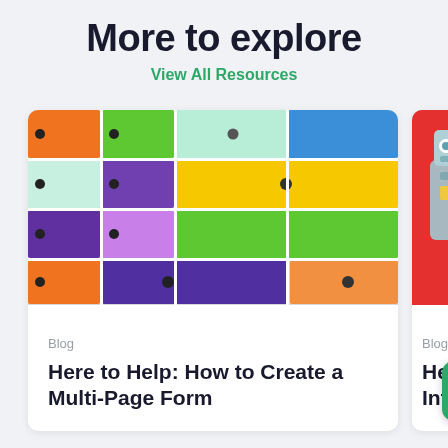More to explore
View All Resources
[Figure (photo): Colorful multi-drawer cabinet with orange, green, mint, blue, purple, yellow, and orange drawers with dark round knobs]
Blog
Here to Help: How to Create a Multi-Page Form
[Figure (photo): Partially visible image of a robot toy on a red background]
Blog
Here t... Inte... ns